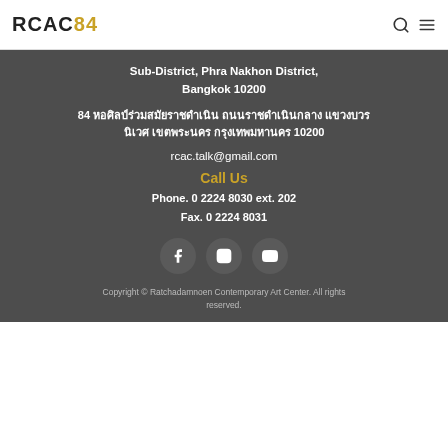RCAC84
Sub-District, Phra Nakhon District, Bangkok 10200
84 หอศิลป์ร่วมสมัยราชดำเนิน ถนนราชดำเนินกลาง แขวงบวรนิเวศ เขตพระนคร กรุงเทพมหานคร 10200
rcac.talk@gmail.com
Call Us
Phone. 0 2224 8030 ext. 202
Fax. 0 2224 8031
[Figure (other): Social media icons: Facebook, Instagram, YouTube]
Copyright © Ratchadamnoen Contemporary Art Center. All rights reserved.